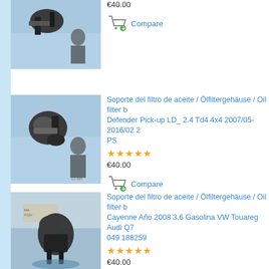[Figure (photo): Product photo of oil filter housing part (partial listing at top)]
€40.00
Compare
[Figure (photo): Product photo of oil filter housing part for Land Rover Defender]
Soporte del filtro de aceite / Ölfiltergehäuse / Oil filter b Defender Pick-up LD_ 2.4 Td4 4x4 2007/05-2016/02 2 PS
★★★★★
€40.00
Compare
[Figure (photo): Product photo of oil filter housing for Porsche Cayenne / VW Touareg / Audi Q7]
Soporte del filtro de aceite / Ölfiltergehäuse / Oil filter b Cayenne Año 2008 3.6 Gasolina VW Touareg Audi Q7 049 188259
★★★★★
€40.00
Compare